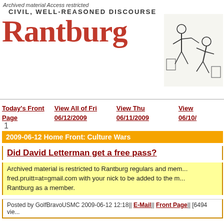Archived material Access restricted
Rantburg
CIVIL, WELL-REASONED DISCOURSE
Today's Front Page
View All of Fri 06/12/2009
View Thu 06/11/2009
View 06/10/
1
2009-06-12 Home Front: Culture Wars
Did David Letterman get a free pass?
Archived material is restricted to Rantburg regulars and mem... fred.pruitt=at=gmail.com with your nick to be added to the m... Rantburg as a member.
Posted by GolfBravoUSMC 2009-06-12 12:18|| E-Mail|| Front Page|| [6494 vie...
#1 So is the proper answer here "Yes" or "Duh"?
Posted by tu3031 2009-06-12 12:29||   2009-06-12 12:29|| Front
#2 Of course he did - he didn't insult a real human... not people like you and me, it's perfectly OK to...